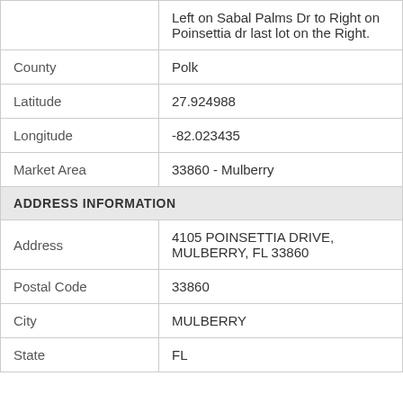| Field | Value |
| --- | --- |
|  | Left on Sabal Palms Dr to Right on Poinsettia dr last lot on the Right. |
| County | Polk |
| Latitude | 27.924988 |
| Longitude | -82.023435 |
| Market Area | 33860 - Mulberry |
| ADDRESS INFORMATION |  |
| Address | 4105 POINSETTIA DRIVE, MULBERRY, FL 33860 |
| Postal Code | 33860 |
| City | MULBERRY |
| State | FL |